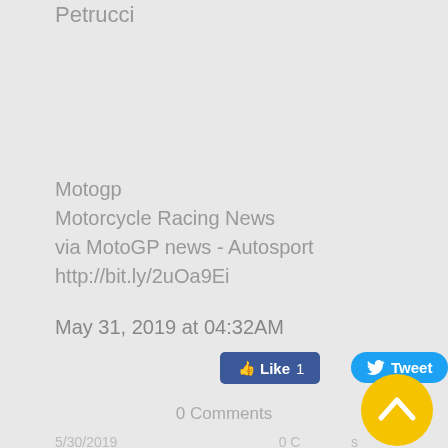Petrucci
Motogp
Motorcycle Racing News
via MotoGP news - Autosport
http://bit.ly/2uOa9Ei
May 31, 2019 at 04:32AM
[Figure (screenshot): Facebook Like button showing count of 1]
[Figure (screenshot): Twitter Tweet button]
0 Comments
5/30/2019
0 Comments
[Figure (other): Yellow circular scroll-up/back-to-top button with upward chevron arrow]
Piaggio Files Aprilia RS 660 Design But is it for the Production Model or the Concept?- Motorcycle